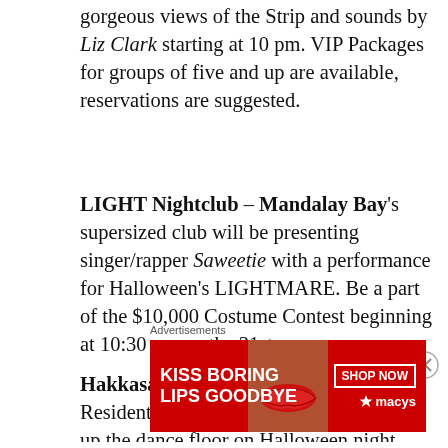gorgeous views of the Strip and sounds by Liz Clark starting at 10 pm. VIP Packages for groups of five and up are available, reservations are suggested.
LIGHT Nightclub – Mandalay Bay's supersized club will be presenting singer/rapper Saweetie with a performance for Halloween's LIGHTMARE. Be a part of the $10,000 Costume Contest beginning at 10:30 pm on the 31st.
Hakkasan at MGM Grand – Resident deejay Calvin Harris lights up the dance floor on Halloween night with special guest Cardi B
Advertisements
[Figure (illustration): Macy's advertisement banner: red background with white text 'KISS BORING LIPS GOODBYE', a close-up photo of lips, a 'SHOP NOW' button outline, and Macy's star logo]